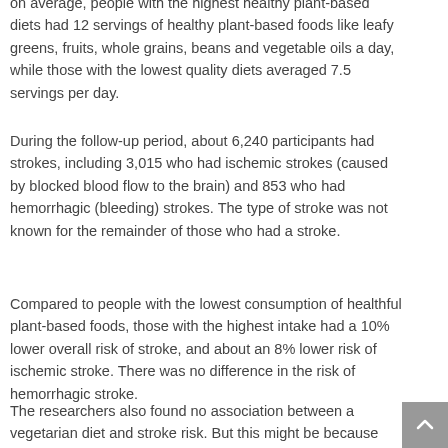on average, people with the highest healthy plant-based diets had 12 servings of healthy plant-based foods like leafy greens, fruits, whole grains, beans and vegetable oils a day, while those with the lowest quality diets averaged 7.5 servings per day.
During the follow-up period, about 6,240 participants had strokes, including 3,015 who had ischemic strokes (caused by blocked blood flow to the brain) and 853 who had hemorrhagic (bleeding) strokes. The type of stroke was not known for the remainder of those who had a stroke.
Compared to people with the lowest consumption of healthful plant-based foods, those with the highest intake had a 10% lower overall risk of stroke, and about an 8% lower risk of ischemic stroke. There was no difference in the risk of hemorrhagic stroke.
The researchers also found no association between a vegetarian diet and stroke risk. But this might be because